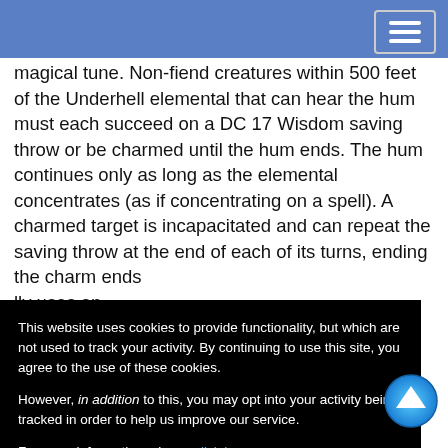magical tune. Non-fiend creatures within 500 feet of the Underhell elemental that can hear the hum must each succeed on a DC 17 Wisdom saving throw or be charmed until the hum ends. The hum continues only as long as the elemental concentrates (as if concentrating on a spell). A charmed target is incapacitated and can repeat the saving throw at the end of each of its turns, ending [the effect on itself on a success. T]he charm ends [early if the elemental] lly uses an [action on a creature] that successfully [saves against the e]lemental's hum
[...] es a creature [is charme]d. The target [must make the savi]ng throw aga[in. On a failure, (2d8] + 4) psychic [damage or half as] much damage
This website uses cookies to provide functionality, but which are not used to track your activity. By continuing to use this site, you agree to the use of these cookies.

However, in addition to this, you may opt into your activity being tracked in order to help us improve our service.

For more information, please click here
OK
No, thank you